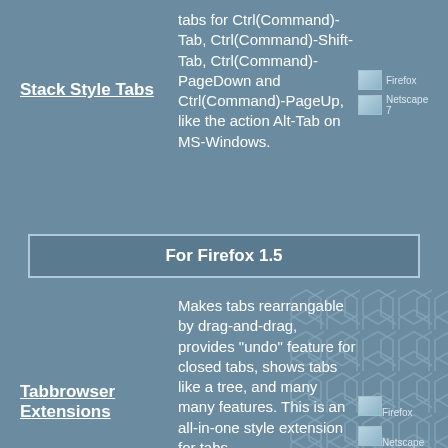tabs for Ctrl(Command)-Tab, Ctrl(Command)-Shift-Tab, Ctrl(Command)-PageDown and Ctrl(Command)-PageUp, like the action Alt-Tab on MS-Windows.
Stack Style Tabs
[Figure (logo): Firefox icon placeholder]
[Figure (logo): Netscape 7 icon placeholder]
For Firefox 1.5
Tabbrowser Extensions
Makes tabs rearrangable by drag-and-drag, provides "undo" feature for closed tabs, shows tabs like a tree, and many many features. This is an all-in-one style extension for tabs.
[Figure (logo): Firefox icon placeholder]
[Figure (logo): Netscape 7 icon placeholder]